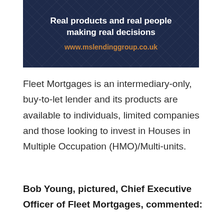[Figure (other): Dark navy blue banner with diamond pattern background. Contains bold white text 'Real products and real people making real decisions' and orange URL text 'www.mslendinggroup.co.uk']
Fleet Mortgages is an intermediary-only, buy-to-let lender and its products are available to individuals, limited companies and those looking to invest in Houses in Multiple Occupation (HMO)/Multi-units.
Bob Young, pictured, Chief Executive Officer of Fleet Mortgages, commented: